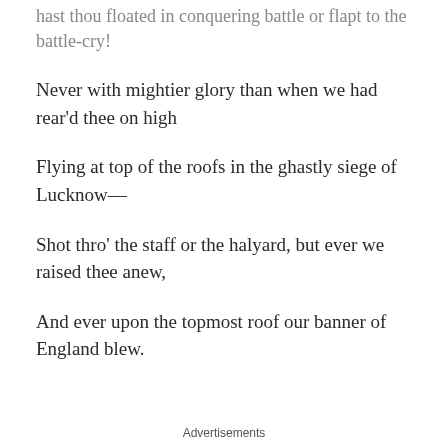hast thou floated in conquering battle or flapt to the battle-cry!
Never with mightier glory than when we had rear'd thee on high
Flying at top of the roofs in the ghastly siege of Lucknow—
Shot thro' the staff or the halyard, but ever we raised thee anew,
And ever upon the topmost roof our banner of England blew.
Advertisements